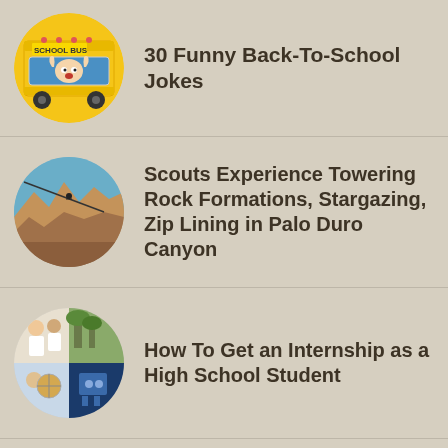[Figure (illustration): Circular thumbnail of a yellow school bus with a child making a funny face in the window, text 'SCHOOL BUS' on the bus]
30 Funny Back-To-School Jokes
[Figure (photo): Circular thumbnail of rock canyon formations with a zip line figure visible against blue sky]
Scouts Experience Towering Rock Formations, Stargazing, Zip Lining in Palo Duro Canyon
[Figure (photo): Circular collage thumbnail of students in various internship/science activities]
How To Get an Internship as a High School Student
[Figure (illustration): Partial circular thumbnail showing purple wizard/award image, partially cut off at bottom of page]